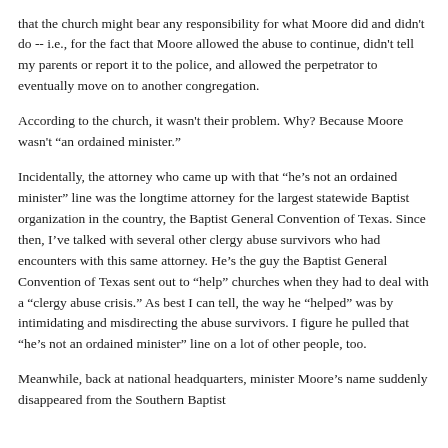that the church might bear any responsibility for what Moore did and didn't do -- i.e., for the fact that Moore allowed the abuse to continue, didn't tell my parents or report it to the police, and allowed the perpetrator to eventually move on to another congregation.
According to the church, it wasn't their problem. Why? Because Moore wasn't “an ordained minister.”
Incidentally, the attorney who came up with that “he’s not an ordained minister” line was the longtime attorney for the largest statewide Baptist organization in the country, the Baptist General Convention of Texas. Since then, I’ve talked with several other clergy abuse survivors who had encounters with this same attorney. He’s the guy the Baptist General Convention of Texas sent out to “help” churches when they had to deal with a “clergy abuse crisis.” As best I can tell, the way he “helped” was by intimidating and misdirecting the abuse survivors. I figure he pulled that “he’s not an ordained minister” line on a lot of other people, too.
Meanwhile, back at national headquarters, minister Moore’s name suddenly disappeared from the Southern Baptist